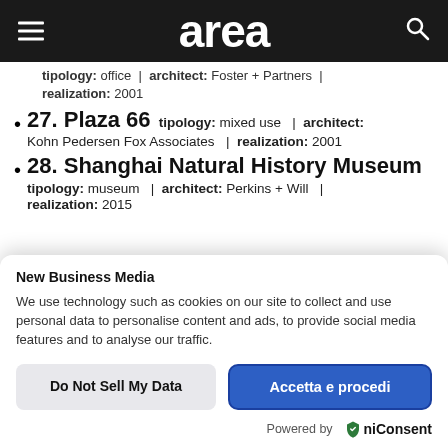area
tipology: office | architect: Foster + Partners | realization: 2001
27. Plaza 66 tipology: mixed use | architect: Kohn Pedersen Fox Associates | realization: 2001
28. Shanghai Natural History Museum tipology: museum | architect: Perkins + Will | realization: 2015
New Business Media
We use technology such as cookies on our site to collect and use personal data to personalise content and ads, to provide social media features and to analyse our traffic.
Do Not Sell My Data
Accetta e procedi
Powered by UniConsent